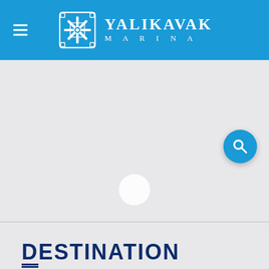[Figure (logo): Yalikavak Marina logo with decorative snowflake/geometric emblem and text YALIKAVAK MARINA on a blue header bar]
[Figure (other): Gray content area with a small white circular media play button in the center and a blue search button circle in the upper right]
DESTINATION